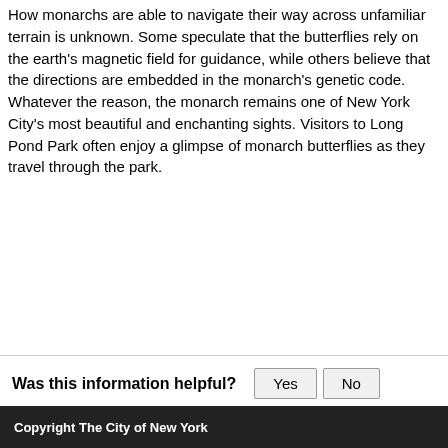How monarchs are able to navigate their way across unfamiliar terrain is unknown. Some speculate that the butterflies rely on the earth's magnetic field for guidance, while others believe that the directions are embedded in the monarch's genetic code. Whatever the reason, the monarch remains one of New York City's most beautiful and enchanting sights. Visitors to Long Pond Park often enjoy a glimpse of monarch butterflies as they travel through the park.
Was this information helpful?
Copyright The City of New York